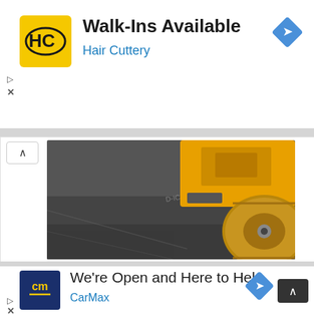[Figure (logo): Hair Cuttery logo - yellow square with HC letters]
Walk-Ins Available
Hair Cuttery
[Figure (photo): Asphalt road roller compacting dark pavement]
Finley Asphalt is a Top Rated - Customer Service Available
Ad finleyasphalt.com
[Figure (logo): CarMax logo - dark blue square with cm letters in yellow]
We're Open and Here to Help
CarMax